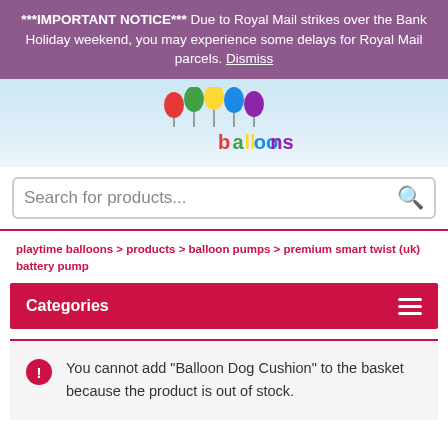***IMPORTANT NOTICE*** Due to Royal Mail strikes over the Bank Holiday weekend, you may experience some delays for Royal Mail parcels. Dismiss
[Figure (logo): Ballons.ie colorful balloon logo with cartoon balloons above stylized text]
Search for products...
playtime balloons > products > balloon pumps > premium smart twist (uk) battery pump
Categories
You cannot add "Balloon Dog Cushion" to the basket because the product is out of stock.